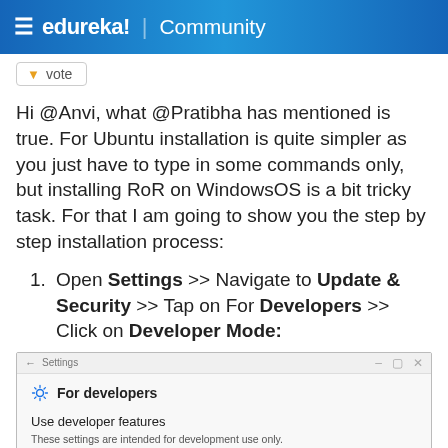≡ edureka! | Community
vote
Hi @Anvi, what @Pratibha has mentioned is true. For Ubuntu installation is quite simpler as you just have to type in some commands only, but installing RoR on WindowsOS is a bit tricky task. For that I am going to show you the step by step installation process:
1. Open Settings >> Navigate to Update & Security >> Tap on For Developers >> Click on Developer Mode:
[Figure (screenshot): Windows Settings screenshot showing 'For developers' page with heading 'Use developer features', subtitle 'These settings are intended for development use only.', a 'Learn more' link, and a radio button option 'Windows Store apps']